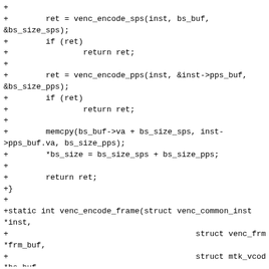+
+        ret = venc_encode_sps(inst, bs_buf,
&bs_size_sps);
+        if (ret)
+                return ret;
+
+        ret = venc_encode_pps(inst, &inst->pps_buf,
&bs_size_pps);
+        if (ret)
+                return ret;
+
+        memcpy(bs_buf->va + bs_size_sps, inst-
>pps_buf.va, bs_size_pps);
+        *bs_size = bs_size_sps + bs_size_pps;
+
+        return ret;
+}
+
+static int venc_encode_frame(struct venc_common_inst
*inst,
+                                        struct venc_frm_buf
*frm_buf,
+                                        struct mtk_vcodec_mem
*bs_buf,
+                                        unsigned int *bs_size,
+                                        int hw_id)
+{
+        int ret = 0;
+        struct venc_frame_info frame_info;
+